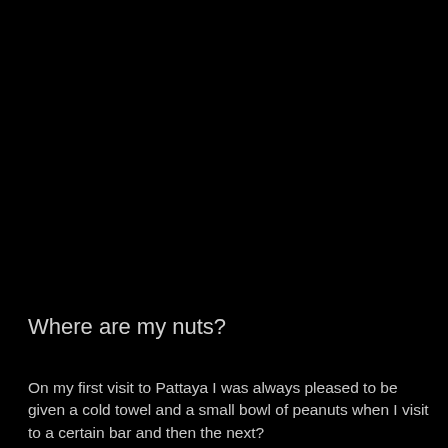Where are my nuts?
On my first visit to Pattaya I was always pleased to be given a cold towel and a small bowl of peanuts when I visit to a certain bar and then the next?